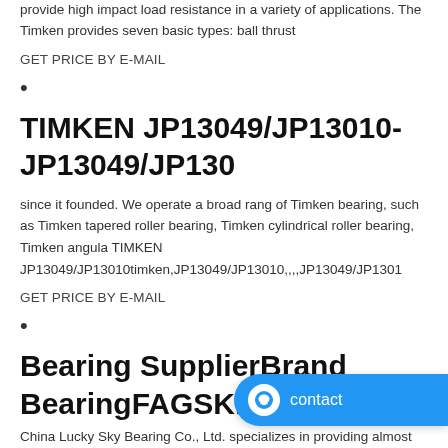provide high impact load resistance in a variety of applications. The Timken provides seven basic types: ball thrust
GET PRICE BY E-MAIL
•
TIMKEN JP13049/JP13010-JP13049/JP130
since it founded. We operate a broad rang of Timken bearing, such as Timken tapered roller bearing, Timken cylindrical roller bearing, Timken angula TIMKEN JP13049/JP13010timken,JP13049/JP13010,,,,JP13049/JP1301
GET PRICE BY E-MAIL
•
Bearing SupplierBrand BearingFAGSKFNSKNTNO
China Lucky Sky Bearing Co., Ltd. specializes in providing almost all